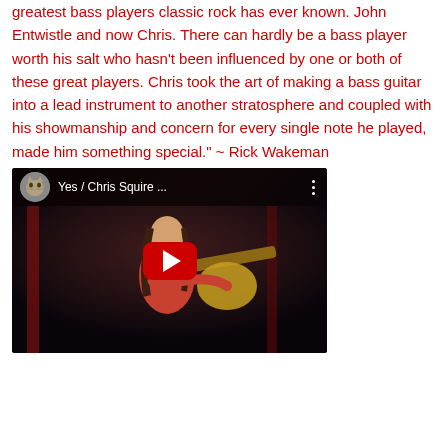greatest bass players classic rock has ever known. John Entwistle and now Chris. There can hardly be a bass player worth his salt who hasn't been influenced by one or both of these great players. Chris took the art of making a bass guitar into a lead instrument to another stratosphere and coupled with his showmanship and concern for every single note he played, made him something special." ~ Rick Wakeman
[Figure (screenshot): YouTube video thumbnail showing Chris Squire playing bass guitar on stage. Video title reads 'Yes / Chris Squire ...' with a cat avatar icon and three dots menu.]